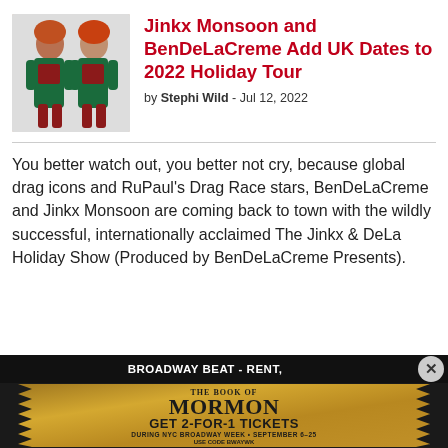[Figure (photo): Two performers in red and green holiday costumes - Jinkx Monsoon and BenDeLaCreme]
Jinkx Monsoon and BenDeLaCreme Add UK Dates to 2022 Holiday Tour
by Stephi Wild - Jul 12, 2022
You better watch out, you better not cry, because global drag icons and RuPaul's Drag Race stars, BenDeLaCreme and Jinkx Monsoon are coming back to town with the wildly successful, internationally acclaimed The Jinkx & DeLa Holiday Show (Produced by BenDeLaCreme Presents).
[Figure (other): Advertisement - The Book of Mormon: Get 2-for-1 tickets during NYC Broadway Week September 6-25, use code BWAYWK]